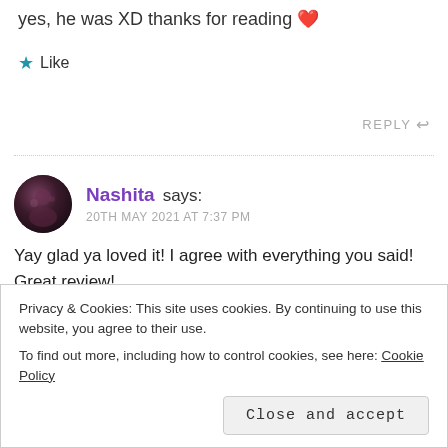yes, he was XD thanks for reading ❤
Like
REPLY ↩
Nashita says:
20TH MAY 2021 AT 7:37 PM
Yay glad ya loved it! I agree with everything you said! Great review!
Privacy & Cookies: This site uses cookies. By continuing to use this website, you agree to their use.
To find out more, including how to control cookies, see here: Cookie Policy
Close and accept